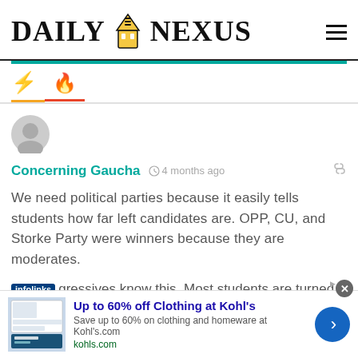DAILY NEXUS
[Figure (logo): Daily Nexus newspaper logo with building icon between DAILY and NEXUS]
Concerning Gaucha   4 months ago
We need political parties because it easily tells students how far left candidates are. OPP, CU, and Storke Party were winners because they are moderates.
gressives know this. Most students are turned off
[Figure (screenshot): Infolinks ad overlay: Up to 60% off Clothing at Kohl's - Save up to 60% on clothing and homeware at Kohl's.com - kohls.com]